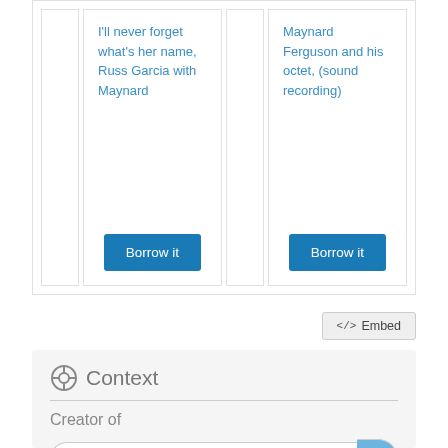I'll never forget what's her name, Russ Garcia with Maynard
Maynard Ferguson and his octet, (sound recording)
Borrow it
Borrow it
</> Embed
Context
Creator of
Filter
Chameleon
Maynard '61
M.F. horn/3